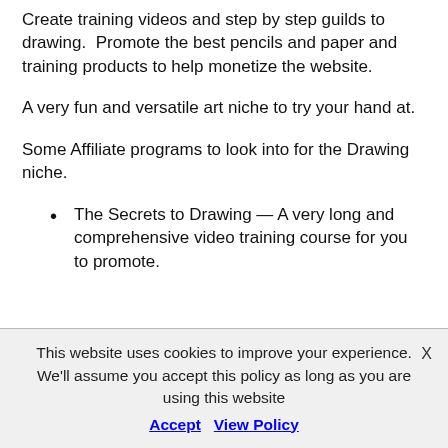Create training videos and step by step guilds to drawing.  Promote the best pencils and paper and training products to help monetize the website.
A very fun and versatile art niche to try your hand at.
Some Affiliate programs to look into for the Drawing niche.
The Secrets to Drawing — A very long and comprehensive video training course for you to promote.
This website uses cookies to improve your experience. We'll assume you accept this policy as long as you are using this website
Accept   View Policy